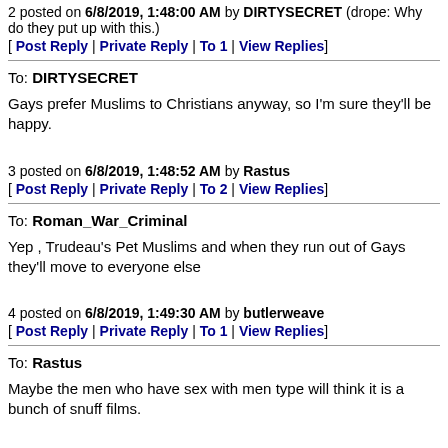2 posted on 6/8/2019, 1:48:00 AM by DIRTYSECRET (drope: Why do they put up with this.)
[ Post Reply | Private Reply | To 1 | View Replies]
To: DIRTYSECRET
Gays prefer Muslims to Christians anyway, so I'm sure they'll be happy.
3 posted on 6/8/2019, 1:48:52 AM by Rastus
[ Post Reply | Private Reply | To 2 | View Replies]
To: Roman_War_Criminal
Yep , Trudeau's Pet Muslims and when they run out of Gays they'll move to everyone else
4 posted on 6/8/2019, 1:49:30 AM by butlerweave
[ Post Reply | Private Reply | To 1 | View Replies]
To: Rastus
Maybe the men who have sex with men type will think it is a bunch of snuff films.